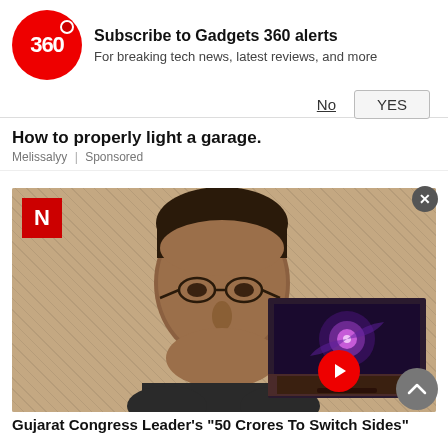Subscribe to Gadgets 360 alerts
For breaking tech news, latest reviews, and more
No  YES
How to properly light a garage.
Melissalyy | Sponsored
[Figure (photo): Photo of a middle-aged South Asian man wearing glasses, with a red N logo overlay in the top-left corner of the image, and a video thumbnail of a TV displaying a galaxy image in the bottom-right, with a red play button]
Gujarat Congress Leader's "50 Crores To Switch Sides"